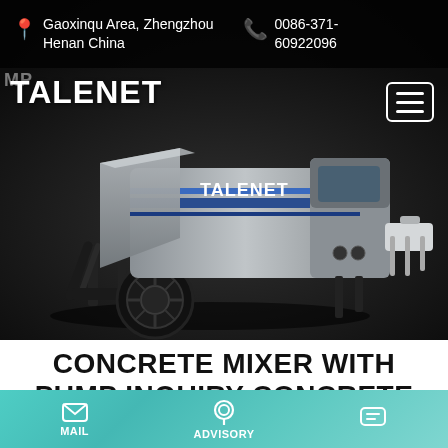Gaoxinqu Area, Zhengzhou Henan China   0086-371-60922096
[Figure (photo): Talenet brand concrete mixer with pump machine on dark background — a grey trailer-mounted concrete mixer pump with blue stripe branding, large black wheel, hopper on the left, pump outlet on the right]
CONCRETE MIXER WITH PUMP INQUIRY CONCRETE MIXER PUMP
MAIL   ADVISORY   (chat icon)